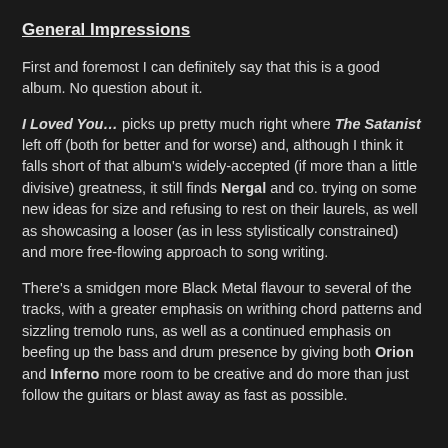General Impressions
First and foremost I can definitely say that this is a good album. No question about it.
I Loved You… picks up pretty much right where The Satanist left off (both for better and for worse) and, although I think it falls short of that album's widely-accepted (if more than a little divisive) greatness, it still finds Nergal and co. trying on some new ideas for size and refusing to rest on their laurels, as well as showcasing a looser (as in less stylistically constrained) and more free-flowing approach to song writing.
There's a smidgen more Black Metal flavour to several of the tracks, with a greater emphasis on writhing chord patterns and sizzling tremolo runs, as well as a continued emphasis on beefing up the bass and drum presence by giving both Orion and Inferno more room to be creative and do more than just follow the guitars or blast away as fast as possible.